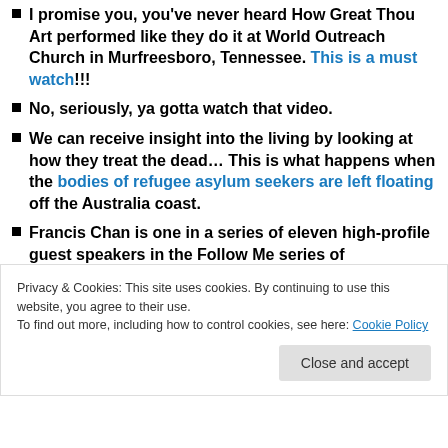I promise you, you've never heard How Great Thou Art performed like they do it at World Outreach Church in Murfreesboro, Tennessee. This is a must watch!!!
No, seriously, ya gotta watch that video.
We can receive insight into the living by looking at how they treat the dead... This is what happens when the bodies of refugee asylum seekers are left floating off the Australia coast.
Francis Chan is one in a series of eleven high-profile guest speakers in the Follow Me series of
Privacy & Cookies: This site uses cookies. By continuing to use this website, you agree to their use. To find out more, including how to control cookies, see here: Cookie Policy
Francis chan ...